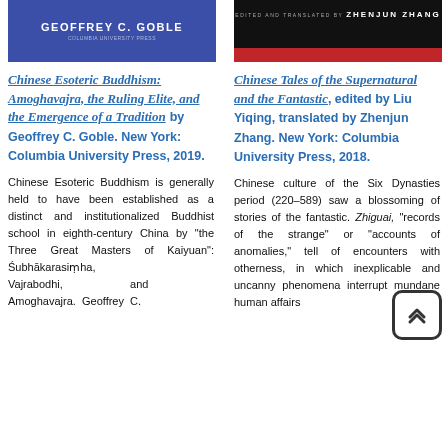[Figure (illustration): Book cover with blue background showing author name GEOFFREY C. GOBLE in white bold letters]
Chinese Esoteric Buddhism: Amoghavajra, the Ruling Elite, and the Emergence of a Tradition by Geoffrey C. Goble. New York: Columbia University Press, 2019.
Chinese Esoteric Buddhism is generally held to have been established as a distinct and institutionalized Buddhist school in eighth-century China by "the Three Great Masters of Kaiyuan": Śubhākarasiṃha, Vajrabodhi, and Amoghavajra. Geoffrey C.
[Figure (illustration): Book cover with black background, red bar at bottom, and editor/translator credit ZHENJUN ZHANG]
Chinese Tales of the Supernatural and the Fantastic, edited by Liu Yiqing, translated by Zhenjun Zhang. New York: Columbia University Press, 2018.
Chinese culture of the Six Dynasties period (220–589) saw a blossoming of stories of the fantastic. Zhiguai, "records of the strange" or "accounts of anomalies," tell of encounters with otherness, in which inexplicable and uncanny phenomena interrupt mundane human affairs